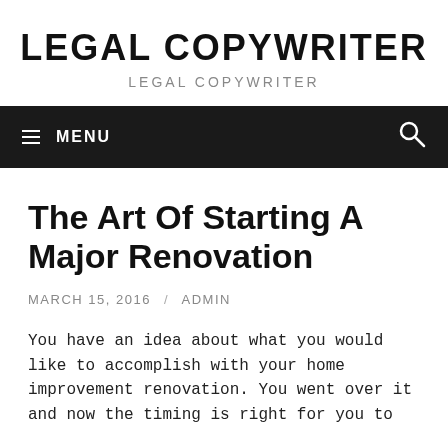LEGAL COPYWRITER
LEGAL COPYWRITER
≡ MENU
The Art Of Starting A Major Renovation
MARCH 15, 2016 / ADMIN
You have an idea about what you would like to accomplish with your home improvement renovation. You went over it and now the timing is right for you to